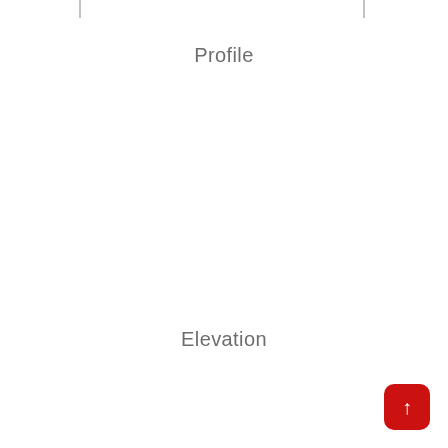[Figure (schematic): Engineering drawing with tick marks at top indicating measurement reference lines, showing Profile view label]
Profile
Elevation
[Figure (other): Red button with upward arrow icon in bottom-right corner]